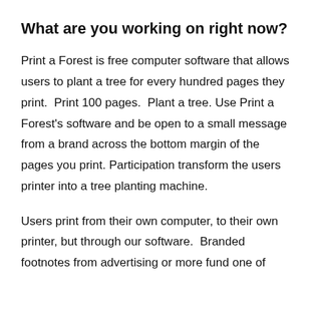What are you working on right now?
Print a Forest is free computer software that allows users to plant a tree for every hundred pages they print.  Print 100 pages.  Plant a tree.  Use Print a Forest's software and be open to a small message from a brand across the bottom margin of the pages you print. Participation transform the users printer into a tree planting machine.
Users print from their own computer, to their own printer, but through our software.  Branded footnotes from advertising or more fund one of